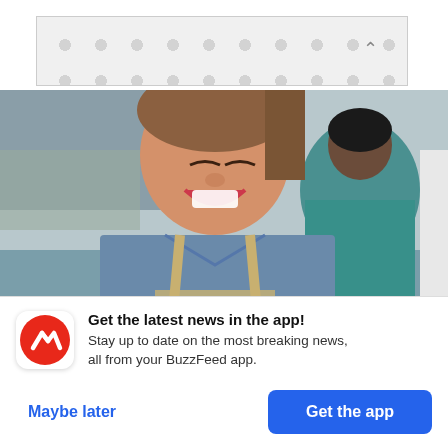[Figure (other): Ad banner with dot/circle pattern background and upward chevron arrow on the right]
[Figure (photo): Cropped photo of a smiling woman in a denim shirt and apron, with another person in the background wearing teal scrubs. SATURDAY NIGHT LIVE watermark visible in bottom right corner.]
youtube.com
However, Beth's faith is tested when
Get the latest news in the app! Stay up to date on the most breaking news, all from your BuzzFeed app.
Maybe later
Get the app